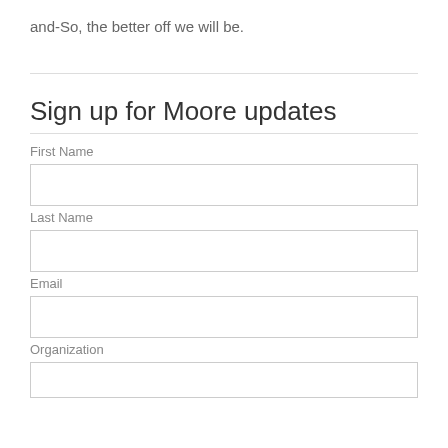and-So, the better off we will be.
Sign up for Moore updates
First Name
Last Name
Email
Organization